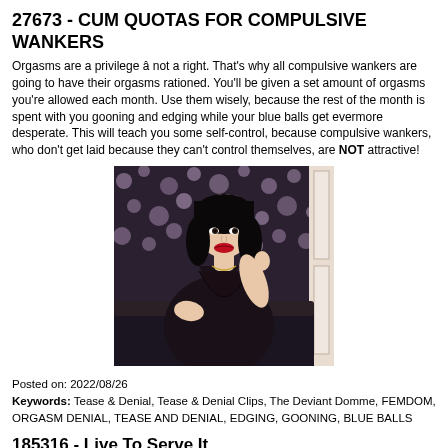27673 - CUM QUOTAS FOR COMPULSIVE WANKERS
Orgasms are a privilege â not a right. That's why all compulsive wankers are going to have their orgasms rationed. You'll be given a set amount of orgasms you're allowed each month. Use them wisely, because the rest of the month is spent with you gooning and edging while your blue balls get evermore desperate. This will teach you some self-control, because compulsive wankers, who don't get laid because they can't control themselves, are NOT attractive!
[Figure (photo): Woman with dark hair, red lips, wearing a black leather dress, seated against a sparkly bokeh background]
Posted on: 2022/08/26
Keywords: Tease & Denial, Tease & Denial Clips, The Deviant Domme, FEMDOM, ORGASM DENIAL, TEASE AND DENIAL, EDGING, GOONING, BLUE BALLS
185316 - Live To Serve It
I think it's time I remind you who really holds the power... my perfect ass of course! It makes you ache all while taking whatever it desires from you. You're a slave to it no matter wh